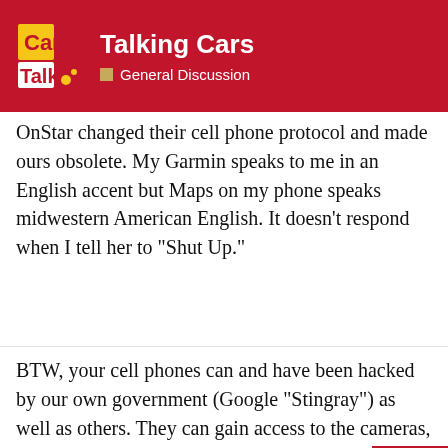Talking Cars — General Discussion
OnStar changed their cell phone protocol and made ours obsolete. My Garmin speaks to me in an English accent but Maps on my phone speaks midwestern American English. It doesn't respond when I tell her to “Shut Up.”
BTW, your cell phones can and have been hacked by our own government (Google “Stingray”) as well as others. They can gain access to the cameras, GPS location and cell towers used. They’ve been used to convict criminals for about 20 years. Welcome to 1984!
[Figure (screenshot): Petco advertisement: 'Your Pet's Summer Essentials' with Petco logo and navigation arrow icon]